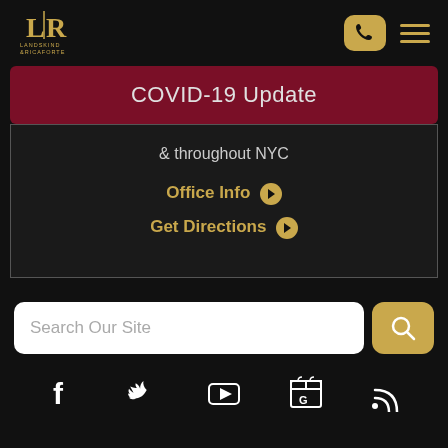[Figure (logo): Landskind & Ricaforte Law Group PC logo with LR monogram in gold on black background]
COVID-19 Update
& throughout NYC
Office Info
Get Directions
Search Our Site
[Figure (infographic): Social media icons: Facebook, Twitter, YouTube, Google My Business, RSS feed]